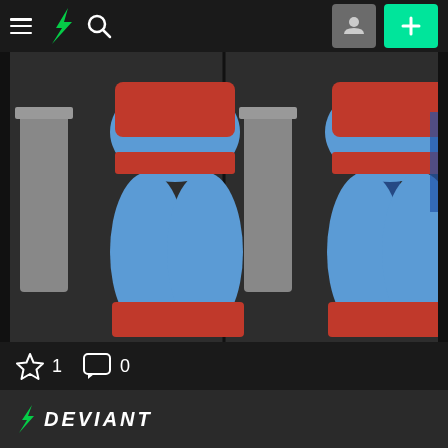DeviantArt navigation bar with hamburger menu, DA logo, search icon, profile button, and add button
[Figure (photo): Two side-by-side photos of a person wearing a Superman-style costume with blue tights and red accents, viewed from behind, standing in a garage setting]
1   0
DEVIANT